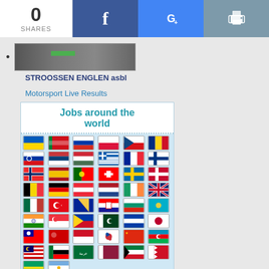0 SHARES | Facebook | Google+ | Print
[Figure (photo): Thumbnail image with dark/gray background and green strip]
STROOSSEN ENGLEN asbl
Motorsport Live Results
[Figure (infographic): Jobs around the world widget showing a grid of country flags from Europe, Asia, Middle East and other regions]